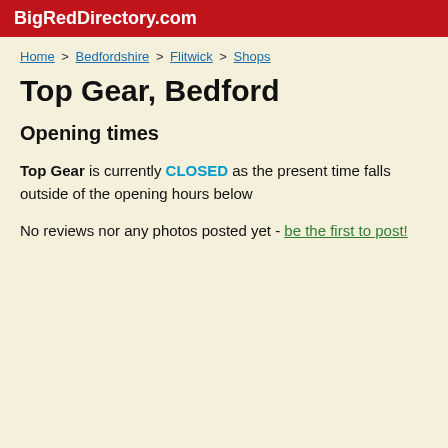BigRedDirectory.com
Home > Bedfordshire > Flitwick > Shops
Top Gear, Bedford
Opening times
Top Gear is currently CLOSED as the present time falls outside of the opening hours below
No reviews nor any photos posted yet - be the first to post!